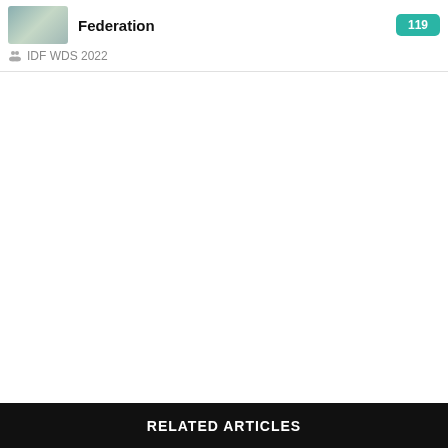Federation
IDF WDS 2022
RELATED ARTICLES